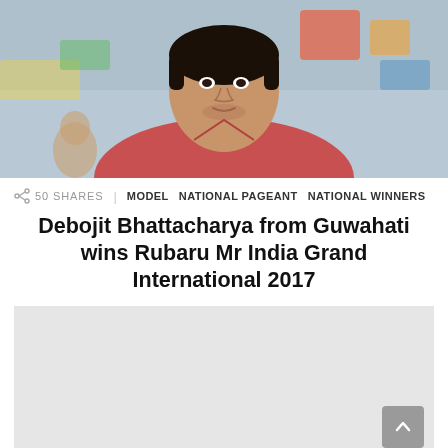[Figure (photo): Young man in a red v-neck t-shirt, facing camera, blurred colorful background]
50 SHARES   MODEL   NATIONAL PAGEANT   NATIONAL WINNERS
Debojit Bhattacharya from Guwahati wins Rubaru Mr India Grand International 2017
[Figure (other): Gray advertisement placeholder box with a scroll-to-top button in the bottom right corner]